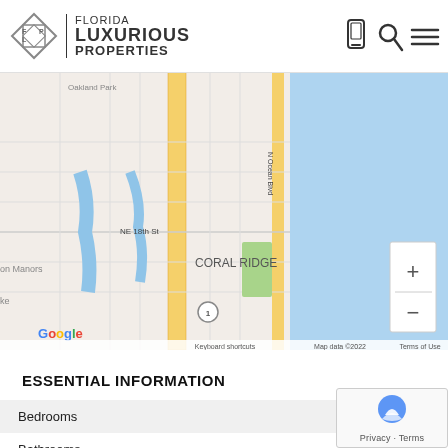[Figure (logo): Florida Luxurious Properties logo with diamond FLP monogram and company name]
[Figure (map): Google Maps view of Coral Ridge area in Fort Lauderdale, FL showing NE 18th St, N Ocean Blvd, and surrounding streets. Map data ©2022.]
ESSENTIAL INFORMATION
|  |  |
| --- | --- |
| Bedrooms | 3 |
| Bathrooms | 3 |
| Square Footage |  |
| Year Built |  |
| Type | Single Family |